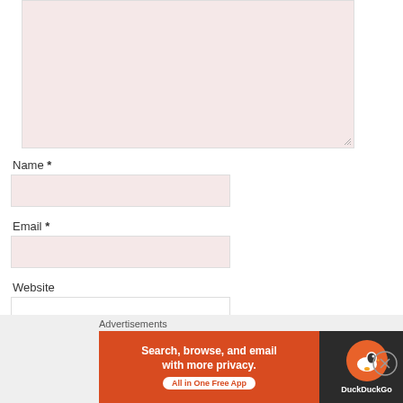[Figure (screenshot): Pink/rose-colored textarea form field (comment box) with resize handle at bottom right]
Name *
[Figure (screenshot): Pink/rose-colored input field for Name]
Email *
[Figure (screenshot): Pink/rose-colored input field for Email]
Website
[Figure (screenshot): White input field for Website, partially visible]
Advertisements
[Figure (screenshot): DuckDuckGo advertisement banner: orange left side reading 'Search, browse, and email with more privacy. All in One Free App' and dark right side with DuckDuckGo logo duck icon and brand name]